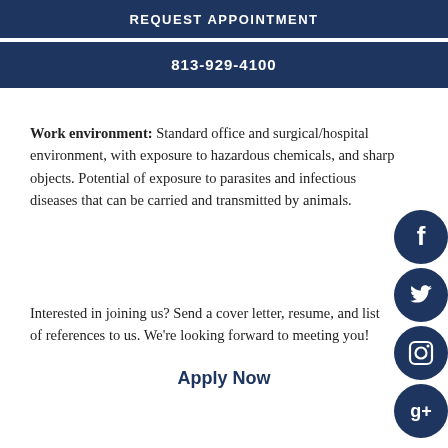REQUEST APPOINTMENT
813-929-4100
Work environment: Standard office and surgical/hospital environment, with exposure to hazardous chemicals, and sharp objects. Potential of exposure to parasites and infectious diseases that can be carried and transmitted by animals.
Interested in joining us? Send a cover letter, resume, and list of references to us. We're looking forward to meeting you!
[Figure (illustration): Four dark navy circular social media icons stacked vertically on the right side: Facebook (f), Twitter (bird), Instagram (camera), Google+ (g)]
Apply Now